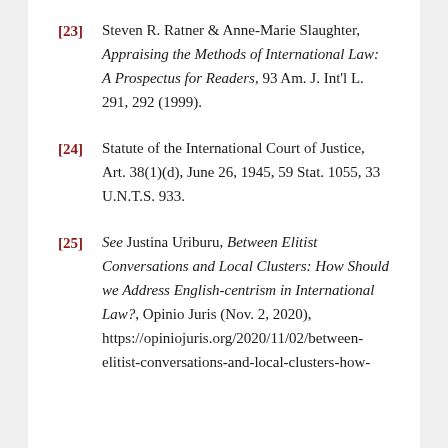[23] Steven R. Ratner & Anne-Marie Slaughter, Appraising the Methods of International Law: A Prospectus for Readers, 93 Am. J. Int'l L. 291, 292 (1999).
[24] Statute of the International Court of Justice, Art. 38(1)(d), June 26, 1945, 59 Stat. 1055, 33 U.N.T.S. 933.
[25] See Justina Uriburu, Between Elitist Conversations and Local Clusters: How Should we Address English-centrism in International Law?, Opinio Juris (Nov. 2, 2020), https://opiniojuris.org/2020/11/02/between-elitist-conversations-and-local-clusters-how-